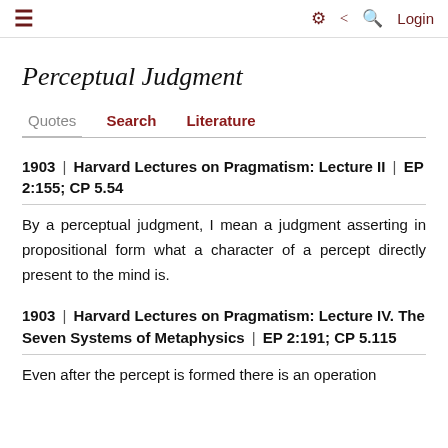≡   ⚙ < Q Login
Perceptual Judgment
Quotes | Search | Literature
1903 | Harvard Lectures on Pragmatism: Lecture II | EP 2:155; CP 5.54
By a perceptual judgment, I mean a judgment asserting in propositional form what a character of a percept directly present to the mind is.
1903 | Harvard Lectures on Pragmatism: Lecture IV. The Seven Systems of Metaphysics | EP 2:191; CP 5.115
Even after the percept is formed there is an operation